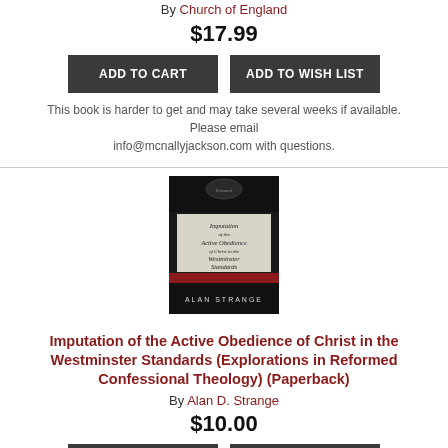By Church of England
$17.99
ADD TO CART
ADD TO WISH LIST
This book is harder to get and may take several weeks if available. Please email info@mcnallyjackson.com with questions.
[Figure (photo): Book cover of 'Imputation of the Active Obedience of Christ in the Westminster Standards' by Alan Strange. Dark/black cover with red band and white text.]
Imputation of the Active Obedience of Christ in the Westminster Standards (Explorations in Reformed Confessional Theology) (Paperback)
By Alan D. Strange
$10.00
ADD TO CART
ADD TO WISH LIST